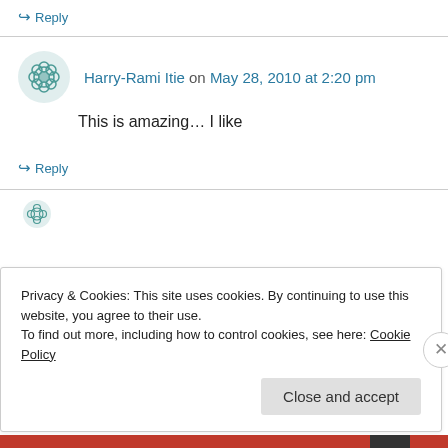↪ Reply
Harry-Rami Itie on May 28, 2010 at 2:20 pm
This is amazing… I like
↪ Reply
Privacy & Cookies: This site uses cookies. By continuing to use this website, you agree to their use. To find out more, including how to control cookies, see here: Cookie Policy
Close and accept